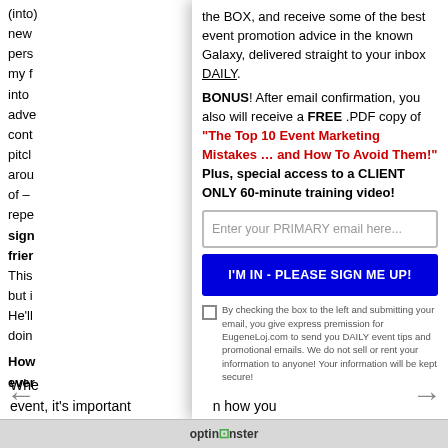(partially visible left column text about event promotion)
the BOX, and receive some of the best event promotion advice in the known Galaxy, delivered straight to your inbox DAILY.
BONUS! After email confirmation, you also will receive a FREE .PDF copy of "The Top 10 Event Marketing Mistakes ... and How To Avoid Them!" Plus, special access to a CLIENT ONLY 60-minute training video!
Enter your PRIMARY email here...
I'M IN - PLEASE SIGN ME UP!
By checking the box to the left and submitting your email, you give express premission for EugeneLoj.com to send you DAILY event tips and promotional emails. We do not sell or rent your information to anyone! Your information will be kept secure!
When event, it's important to learn how you
optinmonster